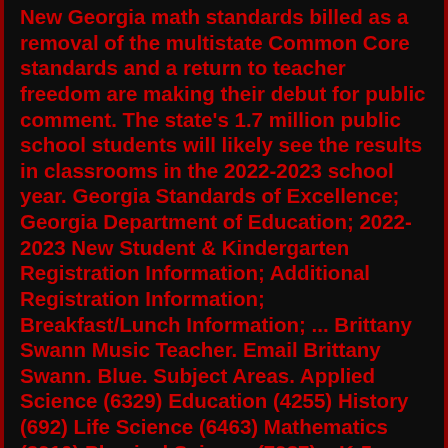New Georgia math standards billed as a removal of the multistate Common Core standards and a return to teacher freedom are making their debut for public comment. The state's 1.7 million public school students will likely see the results in classrooms in the 2022-2023 school year. Georgia Standards of Excellence; Georgia Department of Education; 2022-2023 New Student & Kindergarten Registration Information; Additional Registration Information; Breakfast/Lunch Information; ... Brittany Swann Music Teacher. Email Brittany Swann. Blue. Subject Areas. Applied Science (6329) Education (4255) History (692) Life Science (6463) Mathematics (3910) Physical Science (7987). . K-5 Georgia Standards. Supporting Your Child in Math. Georgia Standards of Excellence (GSE) Frequently Asked Questions about Georgia Standards of Excellence and Math. Common Core Games. Number Talks in Depth Presented at GCTM. I-Pad Apps. Games to Play. Van de Walle Blackline Masters. The Governor's Office of Student Achievement. The Governor's Office of Student Achievement (GOSA) supports accountability and...